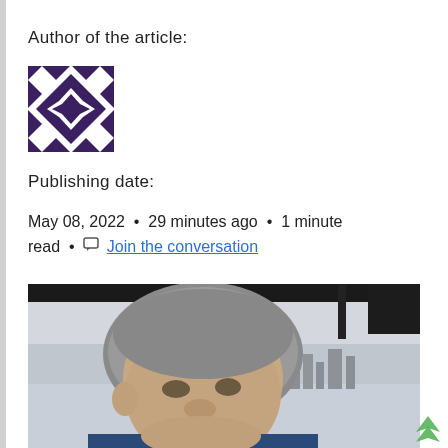Author of the article:
[Figure (logo): Pixelated dark purple geometric star/diamond avatar image]
Publishing date:
May 08, 2022 • 29 minutes ago • 1 minute read • Join the conversation
[Figure (photo): Selfie photo of a middle-aged man with gray hair and beard, smiling, taken outdoors with city skyline and overcast sky in background]